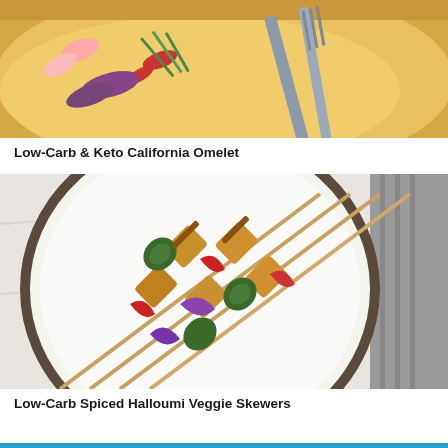[Figure (photo): Close-up of a Low-Carb Keto California Omelet on a plate with a fork, showing egg omelet with toppings including green onions, red peppers, and red onion.]
Low-Carb & Keto California Omelet
[Figure (photo): Overhead photo of Low-Carb Spiced Halloumi Veggie Skewers on a round white ceramic plate with dark rim, showing skewers with grilled halloumi, zucchini, red peppers, and red onion.]
Low-Carb Spiced Halloumi Veggie Skewers